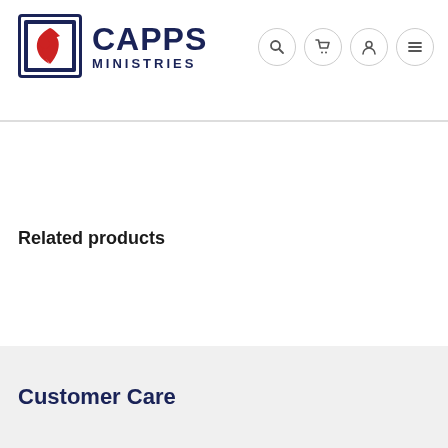CAPPS MINISTRIES
Related products
Customer Care